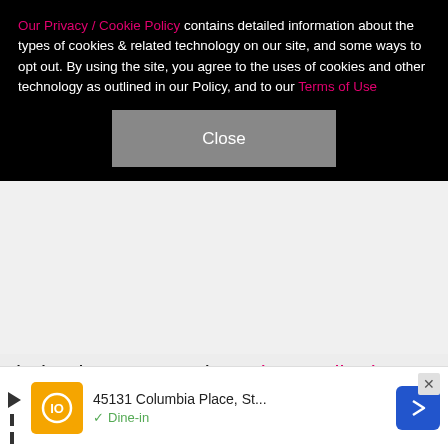Our Privacy / Cookie Policy contains detailed information about the types of cookies & related technology on our site, and some ways to opt out. By using the site, you agree to the uses of cookies and other technology as outlined in our Policy, and to our Terms of Use
Close
helped me get ready, Robert walked me down the aisle, Chandler became my husband and together we lit a candle in Dad's memory. We shared tears and smiles and love. Thankfully, since we all live at Australia Zoo as a family, we could be there for each other. To everyone reading this – stay safe, social distance and remember LOVE WINS!"
[Figure (photo): MTV 2017 Video Music Awards backdrop with partial view of a person, showing MTV logos and '2017 VIDEO MUSIC AWARDS' text in white on blue background]
45131 Columbia Place, St... Dine-in